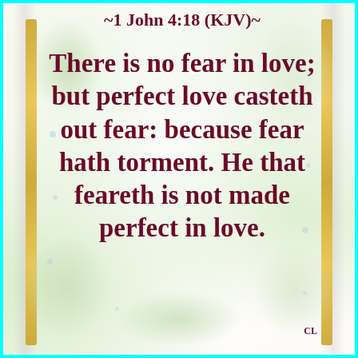~1 John 4:18 (KJV)~
There is no fear in love; but perfect love casteth out fear: because fear hath torment. He that feareth is not made perfect in love.
CL